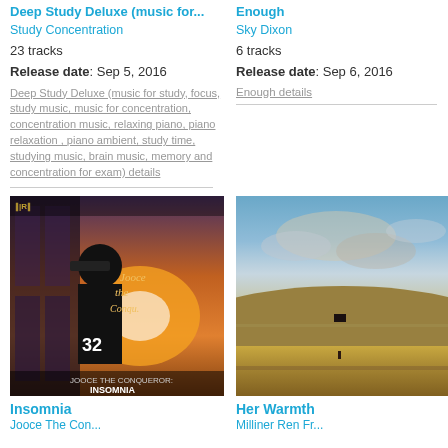Deep Study Deluxe (music for...
Study Concentration
23 tracks
Release date: Sep 5, 2016
Deep Study Deluxe (music for study, focus, study music, music for concentration, concentration music, relaxing piano, piano relaxation , piano ambient, study time, studying music, brain music, memory and concentration for exam) details
Enough
Sky Dixon
6 tracks
Release date: Sep 6, 2016
Enough details
[Figure (photo): Album cover for Insomnia by Jooce The Conqueror - hip hop artist standing by window at sunset with cursive text overlay]
[Figure (photo): Album cover for Her Warmth - landscape photo of a hill under cloudy sky with a small dark object on top]
Insomnia
Her Warmth